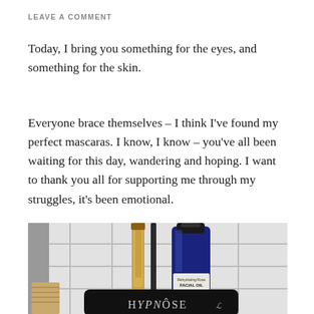LEAVE A COMMENT
Today, I bring you something for the eyes, and something for the skin.
Everyone brace themselves – I think I've found my perfect mascaras. I know, I know – you've all been waiting for this day, wandering and hoping. I want to thank you all for supporting me through my struggles, it's been emotional.
[Figure (photo): Photo of beauty products on a white tiled surface: a gold mascara tube, a blue glass bottle of 'Rehydrating Rose Facial Oil', and a black Hypnose mascara in the foreground.]